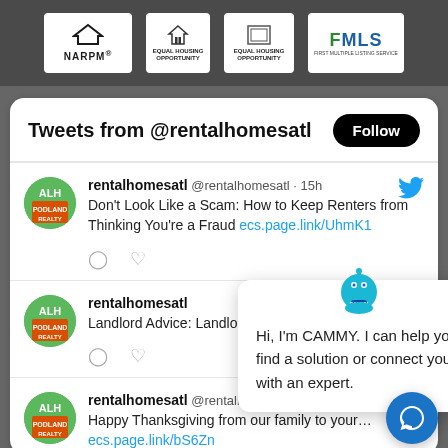[Figure (logo): Top dark banner with NARPM, Equal Housing Opportunity, Equal Housing Opportunity (2nd), and FMLS logos on dark grey background]
Tweets from @rentalhomesatl
Follow
rentalhomesatl @rentalhomesatl · 15h
Don't Look Like a Scam: How to Keep Renters from Thinking You're a Fraud ecs.page.link/UhmK1
rentalhomesatl @rentalhomesatl
Landlord Advice: Landlords Bewar…
[Figure (screenshot): CAMMY chatbot overlay popup with robot avatar, close X button, and message: Hi, I'm CAMMY. I can help you find a solution or connect you with an expert.]
rentalhomesatl @rentalhomesatl · Aug 18
Happy Thanksgiving from our family to your… ecs.page.link/bS6Zn